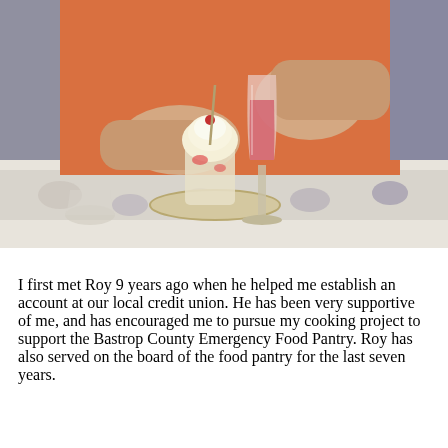[Figure (photo): A person wearing an orange top holding an ice cream sundae dessert glass with a spoon, next to a champagne flute filled with red/pink liquid, placed on a floral tablecloth.]
I first met Roy 9 years ago when he helped me establish an account at our local credit union. He has been very supportive of me, and has encouraged me to pursue my cooking project to support the Bastrop County Emergency Food Pantry. Roy has also served on the board of the food pantry for the last seven years.